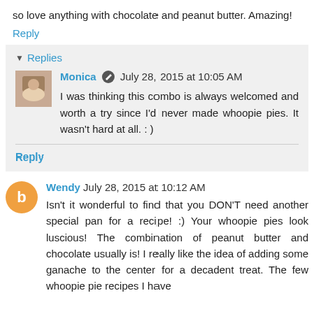so love anything with chocolate and peanut butter. Amazing!
Reply
Replies
Monica  July 28, 2015 at 10:05 AM
I was thinking this combo is always welcomed and worth a try since I'd never made whoopie pies. It wasn't hard at all. : )
Reply
Wendy  July 28, 2015 at 10:12 AM
Isn't it wonderful to find that you DON'T need another special pan for a recipe! :) Your whoopie pies look luscious! The combination of peanut butter and chocolate usually is! I really like the idea of adding some ganache to the center for a decadent treat. The few whoopie pie recipes I have